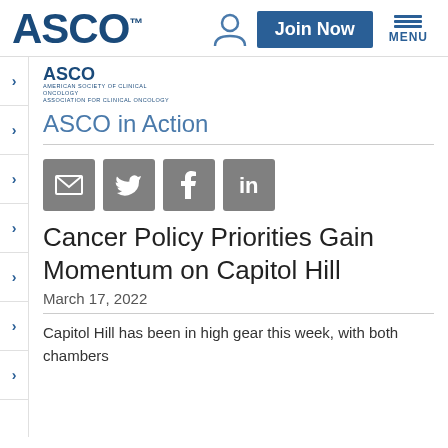[Figure (logo): ASCO logo - large blue text reading ASCO with trademark symbol, top navigation bar with person icon, Join Now button, and MENU button]
[Figure (logo): Small ASCO logo with ASCO text and subtitle: American Society of Clinical Oncology / Association for Clinical Oncology]
ASCO in Action
[Figure (infographic): Social sharing icons row: email (envelope), Twitter (bird), Facebook (f), LinkedIn (in) - all in gray square buttons]
Cancer Policy Priorities Gain Momentum on Capitol Hill
March 17, 2022
Capitol Hill has been in high gear this week, with both chambers